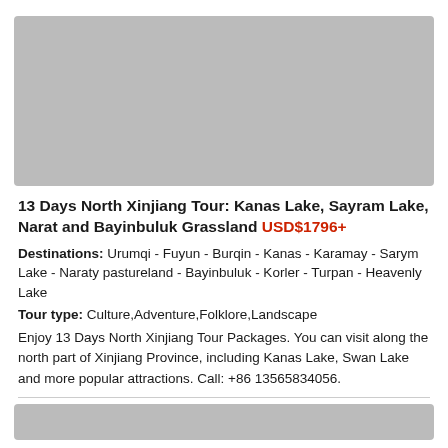[Figure (photo): Top photo placeholder showing a scenic travel destination image, light gray placeholder]
13 Days North Xinjiang Tour: Kanas Lake, Sayram Lake, Narat and Bayinbuluk Grassland USD$1796+
Destinations: Urumqi - Fuyun - Burqin - Kanas - Karamay - Sarym Lake - Naraty pastureland - Bayinbuluk - Korler - Turpan - Heavenly Lake
Tour type: Culture,Adventure,Folklore,Landscape
Enjoy 13 Days North Xinjiang Tour Packages. You can visit along the north part of Xinjiang Province, including Kanas Lake, Swan Lake and more popular attractions. Call: +86 13565834056.
[Figure (photo): Bottom photo placeholder, partial view, light gray]